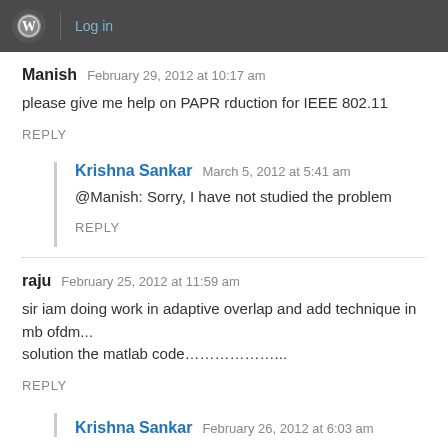Log in
Manish   February 29, 2012 at 10:17 am
please give me help on PAPR rduction for IEEE 802.11
REPLY
Krishna Sankar   March 5, 2012 at 5:41 am
@Manish: Sorry, I have not studied the problem
REPLY
raju   February 25, 2012 at 11:59 am
sir iam doing work in adaptive overlap and add technique in mb ofdm... solution the matlab code………………..
REPLY
Krishna Sankar   February 26, 2012 at 6:03 am